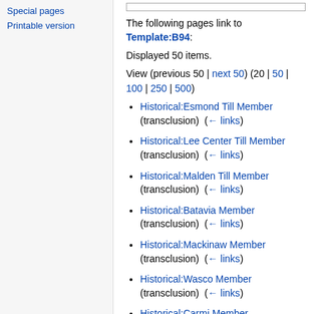Special pages
Printable version
The following pages link to Template:B94:
Displayed 50 items.
View (previous 50 | next 50) (20 | 50 | 100 | 250 | 500)
Historical:Esmond Till Member (transclusion)  (← links)
Historical:Lee Center Till Member (transclusion)  (← links)
Historical:Malden Till Member (transclusion)  (← links)
Historical:Batavia Member (transclusion)  (← links)
Historical:Mackinaw Member (transclusion)  (← links)
Historical:Wasco Member (transclusion)  (← links)
Historical:Carmi Member